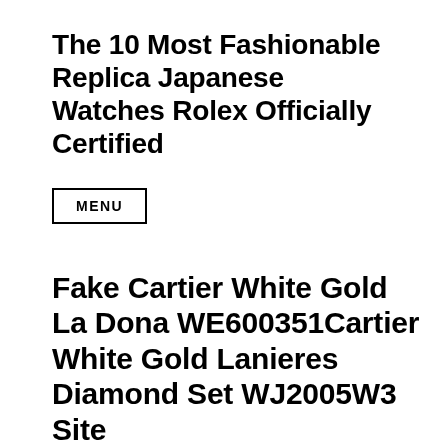The 10 Most Fashionable Replica Japanese Watches Rolex Officially Certified
MENU
Fake Cartier White Gold La Dona WE600351Cartier White Gold Lanieres Diamond Set WJ2005W3 Site